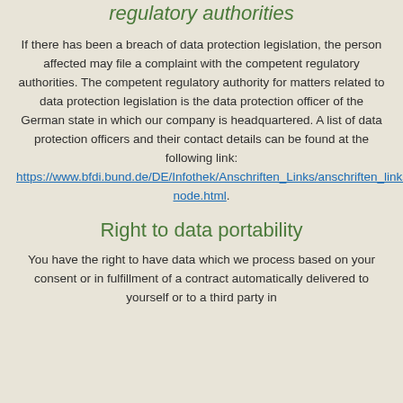regulatory authorities
If there has been a breach of data protection legislation, the person affected may file a complaint with the competent regulatory authorities. The competent regulatory authority for matters related to data protection legislation is the data protection officer of the German state in which our company is headquartered. A list of data protection officers and their contact details can be found at the following link: https://www.bfdi.bund.de/DE/Infothek/Anschriften_Links/anschriften_links_node.html.
Right to data portability
You have the right to have data which we process based on your consent or in fulfillment of a contract automatically delivered to yourself or to a third party in